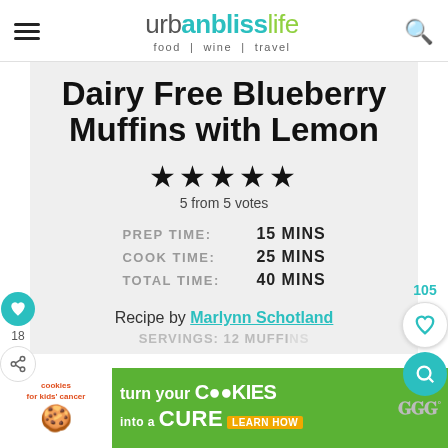urbanblisslife — food | wine | travel
Dairy Free Blueberry Muffins with Lemon
★★★★★
5 from 5 votes
PREP TIME: 15 MINS
COOK TIME: 25 MINS
TOTAL TIME: 40 MINS
Recipe by Marlynn Schotland
SERVINGS: 12 muffins
cookies for kids cancer — turn your COOKIES into a CURE LEARN HOW